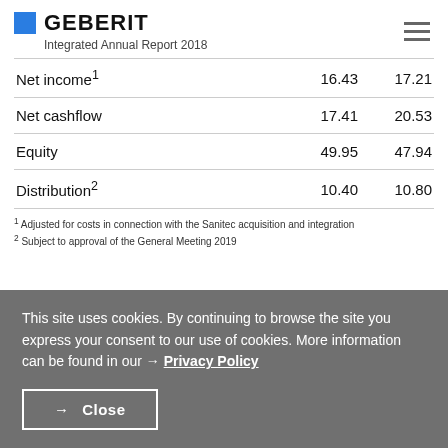GEBERIT – Integrated Annual Report 2018
|  | col1 | col2 |
| --- | --- | --- |
| Net income¹ | 16.43 | 17.21 |
| Net cashflow | 17.41 | 20.53 |
| Equity | 49.95 | 47.94 |
| Distribution² | 10.40 | 10.80 |
¹ Adjusted for costs in connection with the Sanitec acquisition and integration
² Subject to approval of the General Meeting 2019
This site uses cookies. By continuing to browse the site you express your consent to our use of cookies. More information can be found in our → Privacy Policy
→ Close